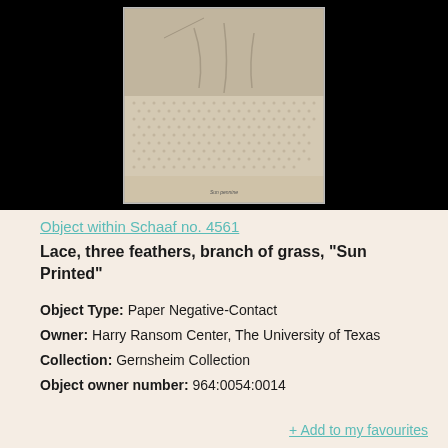[Figure (photo): A historical photographic print showing lace, feathers, and grass arranged on paper. The photograph appears aged and shows delicate botanical and textile elements. A small handwritten caption appears at the bottom of the print. The photo is displayed on a black background.]
Object within Schaaf no. 4561
Lace, three feathers, branch of grass, "Sun Printed"
Object Type: Paper Negative-Contact
Owner: Harry Ransom Center, The University of Texas
Collection: Gernsheim Collection
Object owner number: 964:0054:0014
+ Add to my favourites